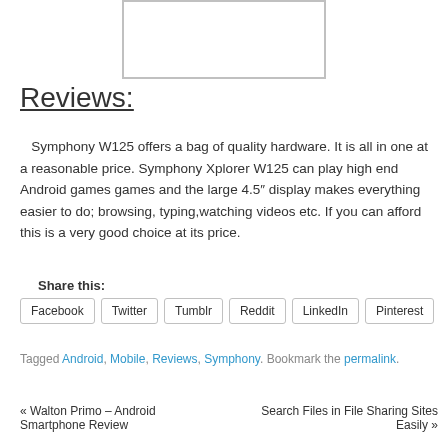[Figure (other): White rectangle with grey border, likely a placeholder for an image]
Reviews:
Symphony W125 offers a bag of quality hardware. It is all in one at a reasonable price. Symphony Xplorer W125 can play high end Android games games and the large 4.5″ display makes everything easier to do; browsing, typing,watching videos etc. If you can afford this is a very good choice at its price.
Share this:
Facebook
Twitter
Tumblr
Reddit
LinkedIn
Pinterest
Tagged Android, Mobile, Reviews, Symphony. Bookmark the permalink.
« Walton Primo – Android Smartphone Review
Search Files in File Sharing Sites Easily »